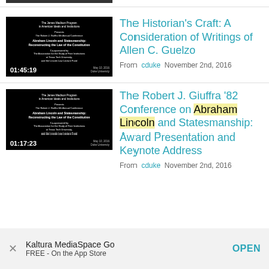[Figure (screenshot): Video thumbnail showing black background with conference text and timecode 01:45:19]
The Historian's Craft: A Consideration of Writings of Allen C. Guelzo
From cduke November 2nd, 2016
[Figure (screenshot): Video thumbnail showing black background with conference text and timecode 01:17:23]
The Robert J. Giuffra '82 Conference on Abraham Lincoln and Statesmanship: Award Presentation and Keynote Address
From cduke November 2nd, 2016
Kaltura MediaSpace Go
FREE - On the App Store
OPEN